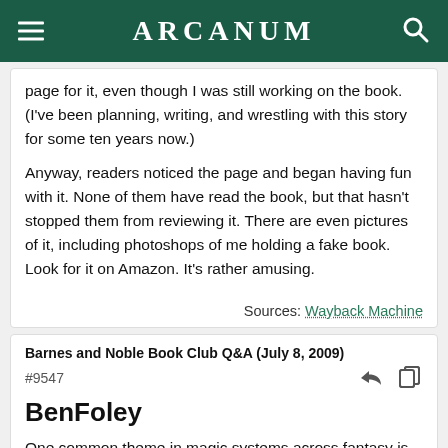ARCANUM
page for it, even though I was still working on the book. (I've been planning, writing, and wrestling with this story for some ten years now.)
Anyway, readers noticed the page and began having fun with it. None of them have read the book, but that hasn't stopped them from reviewing it. There are even pictures of it, including photoshops of me holding a fake book. Look for it on Amazon. It's rather amusing.
Sources: Wayback Machine
Barnes and Noble Book Club Q&A (July 8, 2009)
#9547
BenFoley
One common theme in magic systems across fantasy is the use of artifacts to focus, increase or do something specific with the magic. Inclusion of artifacts is something you have avoided in your magic systems (although I will say I haven't missed